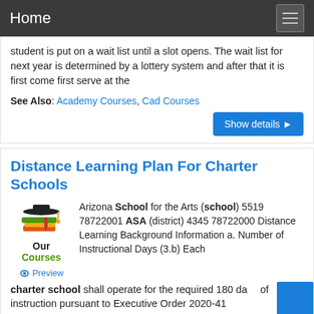Home
student is put on a wait list until a slot opens. The wait list for next year is determined by a lottery system and after that it is first come first serve at the
See Also: Academy Courses, Cad Courses
Distance Learning Plan For Charter Schools
[Figure (logo): Graduation cap with books logo labeled 'Our Courses' and a Preview link]
Arizona School for the Arts (school) 5519 78722001 ASA (district) 4345 78722000 Distance Learning Background Information a. Number of Instructional Days (3.b) Each charter school shall operate for the required 180 days of instruction pursuant to Executive Order 2020-41